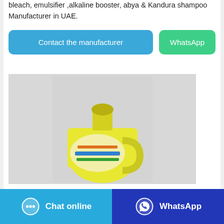bleach, emulsifier, alkaline booster, abya & kandura shampoo Manufacturer in UAE.
[Figure (other): Two buttons: 'Contact the manufacturer' (blue) and 'WhatsApp' (green)]
[Figure (photo): Yellow plastic jug/bottle of fabric softener or floor cleaner product on a light grey background]
Chemicals Suppliers &
[Figure (other): Bottom bar with two buttons: 'Chat online' (light blue with chat bubble icon) and 'WhatsApp' (dark blue with WhatsApp icon)]